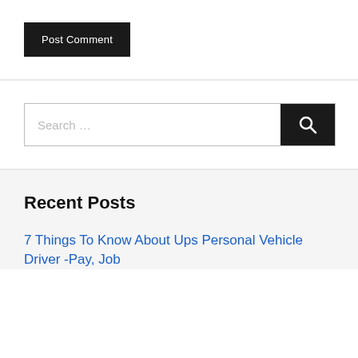Post Comment
[Figure (screenshot): Search bar with text input showing 'Search ...' placeholder and a dark search button with magnifying glass icon]
Recent Posts
7 Things To Know About Ups Personal Vehicle Driver -Pay, Job